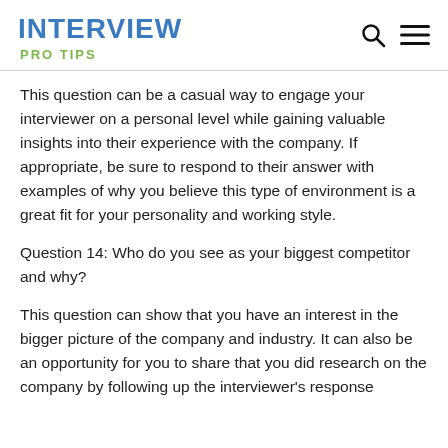INTERVIEW
PRO TIPS
This question can be a casual way to engage your interviewer on a personal level while gaining valuable insights into their experience with the company. If appropriate, be sure to respond to their answer with examples of why you believe this type of environment is a great fit for your personality and working style.
Question 14: Who do you see as your biggest competitor and why?
This question can show that you have an interest in the bigger picture of the company and industry. It can also be an opportunity for you to share that you did research on the company by following up the interviewer's response with information from their own market positioning.